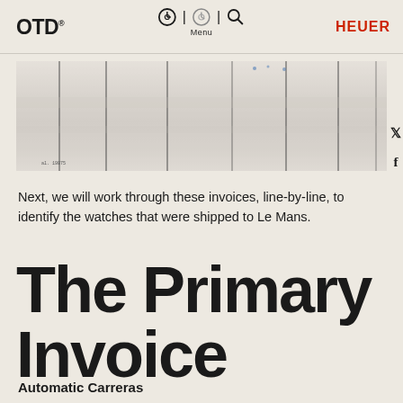OTD® Menu HEUER
[Figure (photo): A wide horizontal photograph of what appears to be a paper document or invoice laid flat, showing a cream/white surface with multiple vertical ruled lines dividing it into columns. The document appears aged or crumpled.]
Next, we will work through these invoices, line-by-line, to identify the watches that were shipped to Le Mans.
The Primary Invoice
Automatic Carreras